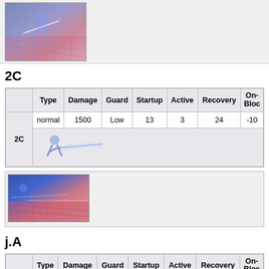[Figure (screenshot): Game screenshot showing a character performing a move with purple/blue visual effects on a grid-like background]
2C
|  | Type | Damage | Guard | Startup | Active | Recovery | On-Block |
| --- | --- | --- | --- | --- | --- | --- | --- |
| 2C | normal | 1500 | Low | 13 | 3 | 24 | -10 |
[Figure (screenshot): Game screenshot showing character 2C move with blue/pink hitbox visualization on grid floor]
j.A
|  | Type | Damage | Guard | Startup | Active | Recovery | On-Block |
| --- | --- | --- | --- | --- | --- | --- | --- |